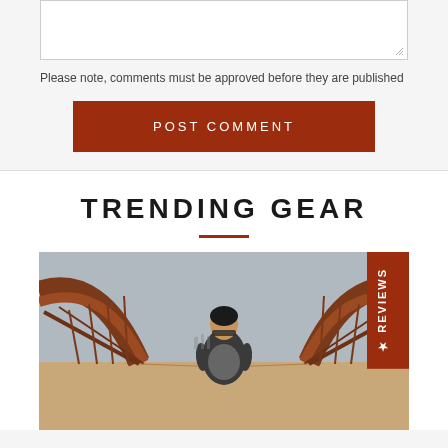Please note, comments must be approved before they are published
POST COMMENT
TRENDING GEAR
[Figure (photo): Man with backpack walking on a pedestrian bridge with rust-colored metal railings, viewed from behind, overcast sky in background.]